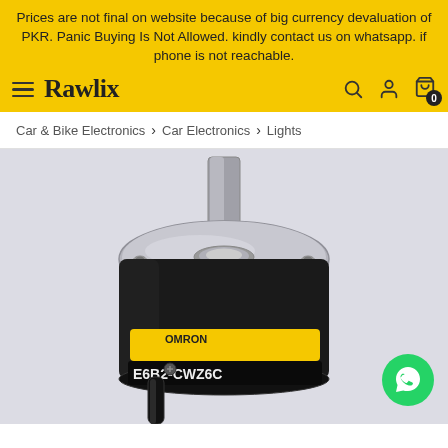Prices are not final on website because of big currency devaluation of PKR. Panic Buying Is Not Allowed. kindly contact us on whatsapp. if phone is not reachable.
Rawlix (logo and navigation icons)
Car & Bike Electronics > Car Electronics > Lights
[Figure (photo): Close-up photo of an Omron rotary encoder (model E6B2-CWZ6C or similar) showing the metallic disc housing with a shaft on top, mounted bearing, and black cable at the bottom. The yellow Omron brand label is visible on the body. A green WhatsApp chat button is overlaid in the bottom-right corner.]